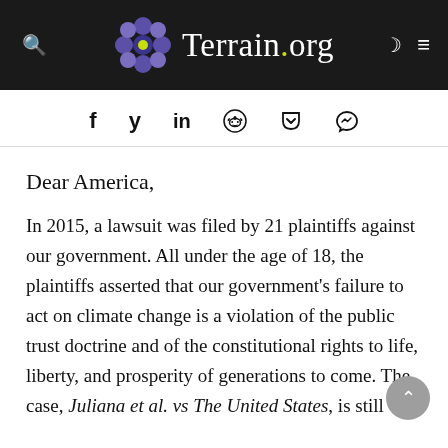Terrain.org
[Figure (logo): Terrain.org website logo with decorative flower icon and navigation icons]
f  y  in  reddit  pocket  messenger (social share icons)
Dear America,
In 2015, a lawsuit was filed by 21 plaintiffs against our government. All under the age of 18, the plaintiffs asserted that our government's failure to act on climate change is a violation of the public trust doctrine and of the constitutional rights to life, liberty, and prosperity of generations to come. The case, Juliana et al. vs The United States, is still